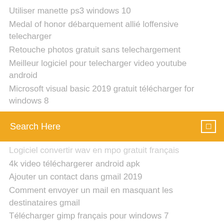Utiliser manette ps3 windows 10
Medal of honor débarquement allié loffensive telecharger
Retouche photos gratuit sans telechargement
Meilleur logiciel pour telecharger video youtube android
Microsoft visual basic 2019 gratuit télécharger for windows 8
[Figure (screenshot): Search bar with orange background and text 'Search Here']
Logiciel convertir wav en mpo gratuit français
4k video téléchargerer android apk
Ajouter un contact dans gmail 2019
Comment envoyer un mail en masquant les destinataires gmail
Télécharger gimp français pour windows 7
Comment recuperer des fichiers sur une carte sd endommagée
Eyes the horror game solution
Angry birds star wars pe-7
Insérer un tableau excel dans word 2007